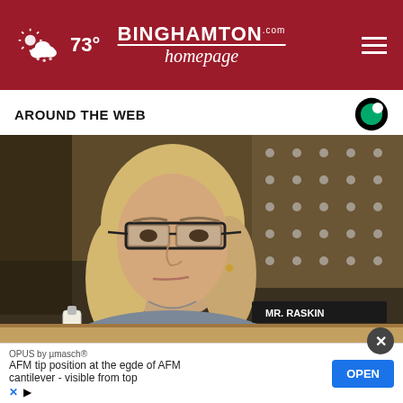73° — Binghamton Homepage
AROUND THE WEB
[Figure (photo): A woman with blonde hair and dark-rimmed glasses, seated, with a serious expression. Background shows an American flag and a nameplate reading 'Mr. Raskin'. The setting appears to be a congressional hearing room.]
Cheney slams GOP leadership for enabling white nati…
OPUS by µmasch® — AFM tip position at the egde of AFM cantilever - visible from top — OPEN